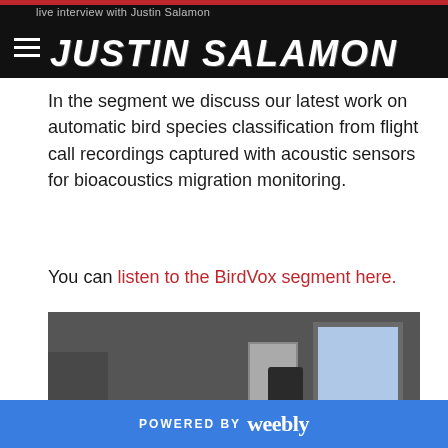live interview with Justin Salamon
In the segment we discuss our latest work on automatic bird species classification from flight call recordings captured with acoustic sensors for bioacoustics migration monitoring.
You can listen to the BirdVox segment here.
[Figure (photo): Four people sitting together in a recording studio, posing for a photo. The room has audio equipment, speakers, and a window with a blue screen visible.]
POWERED BY weebly